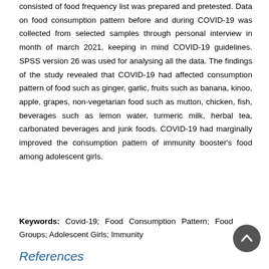consisted of food frequency list was prepared and pretested. Data on food consumption pattern before and during COVID-19 was collected from selected samples through personal interview in month of march 2021, keeping in mind COVID-19 guidelines. SPSS version 26 was used for analysing all the data. The findings of the study revealed that COVID-19 had affected consumption pattern of food such as ginger, garlic, fruits such as banana, kinoo, apple, grapes, non-vegetarian food such as mutton, chicken, fish, beverages such as lemon water, turmeric milk, herbal tea, carbonated beverages and junk foods. COVID-19 had marginally improved the consumption pattern of immunity booster's food among adolescent girls.
Keywords: Covid-19; Food Consumption Pattern; Food Groups; Adolescent Girls; Immunity
References